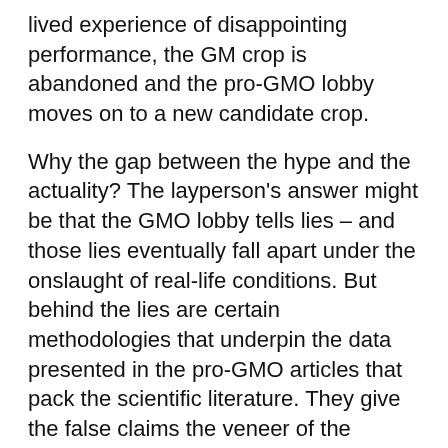lived experience of disappointing performance, the GM crop is abandoned and the pro-GMO lobby moves on to a new candidate crop.
Why the gap between the hype and the actuality? The layperson's answer might be that the GMO lobby tells lies – and those lies eventually fall apart under the onslaught of real-life conditions. But behind the lies are certain methodologies that underpin the data presented in the pro-GMO articles that pack the scientific literature. They give the false claims the veneer of the scientific approach and persuade scientists, policymakers and the public to get behind the GMO juggernaut.
In a recently published peer-reviewed analysis, development experts Matthew A. Schnurr of Dalhousie University in Canada and Brian Dowd-Uribe of the University of San Francisco explain these methodologies and the false assumptions underlying the inflated claims. The authors present what they see as a